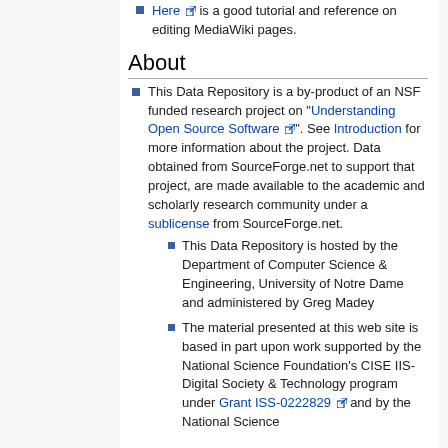Here is a good tutorial and reference on editing MediaWiki pages.
About
This Data Repository is a by-product of an NSF funded research project on "Understanding Open Source Software". See Introduction for more information about the project. Data obtained from SourceForge.net to support that project, are made available to the academic and scholarly research community under a sublicense from SourceForge.net.
This Data Repository is hosted by the Department of Computer Science & Engineering, University of Notre Dame and administered by Greg Madey
The material presented at this web site is based in part upon work supported by the National Science Foundation's CISE IIS-Digital Society & Technology program under Grant ISS-0222829 and by the National Science